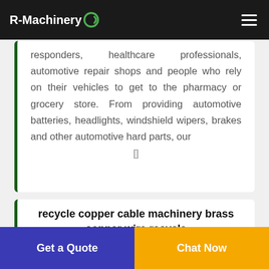R-Machinery
responders, healthcare professionals, automotive repair shops and people who rely on their vehicles to get to the pharmacy or grocery store. From providing automotive batteries, headlights, windshield wipers, brakes and other automotive hard parts, our []
recycle copper cable machinery brass copper wire recycle
Copper Wire Recycling With Wave TableKERUI MACHINERY · Copper Wire Recycling Process. 1st Feed the material into crusher to pulverize the material into 3-4mm
Get a Quote
Chat Now